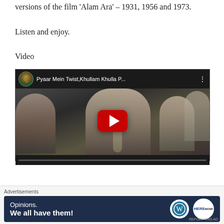versions of the film 'Alam Ara' – 1931, 1956 and 1973.
Listen and enjoy.
Video
[Figure (screenshot): YouTube video embed showing 'Pyaar Mein Twist, Khullam Khulla P...' with a play button overlay on a film still of a man singing into a microphone surrounded by people]
Advertisements
[Figure (screenshot): Advertisement banner with dark blue background: 'Opinions. We all have them!' with WordPress and another logo]